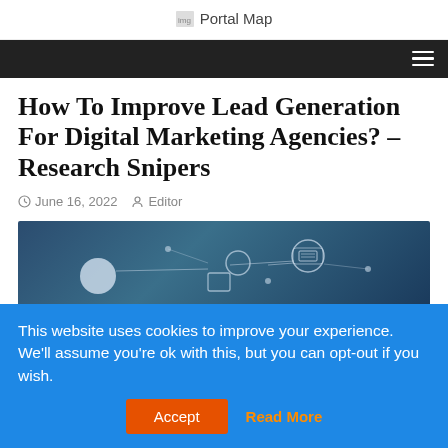Portal Map
How To Improve Lead Generation For Digital Marketing Agencies? – Research Snipers
June 16, 2022   Editor
[Figure (screenshot): Dark technology-themed image with digital network icons and connection lines on a dark blue/grey background]
This website uses cookies to improve your experience. We'll assume you're ok with this, but you can opt-out if you wish.
Accept   Read More